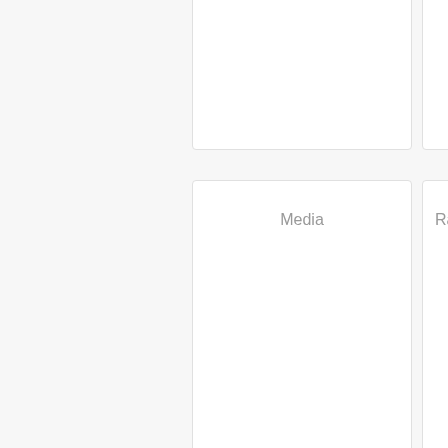[Figure (other): Partial card top-center, mostly cut off at top]
[Figure (other): Partial card top-right, mostly cut off at top and right]
[Figure (other): Card labeled 'Media', large center card]
[Figure (other): Partial card labeled 'Ra...' (truncated), right side]
[Figure (other): Card labeled 'Seats & Covers', bottom center]
[Figure (other): Partial card bottom-right, cut off at right and bottom]